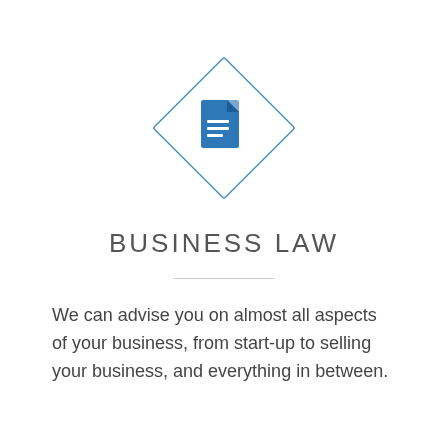[Figure (illustration): A blue document/file icon centered inside a rotated square (diamond) outline in blue. The icon shows a page with folded corner and three horizontal text lines on it.]
BUSINESS LAW
We can advise you on almost all aspects of your business, from start-up to selling your business, and everything in between.